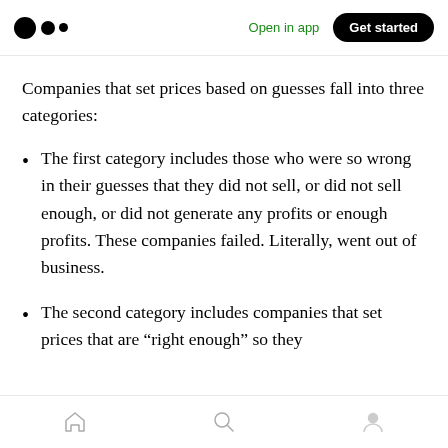Open in app | Get started
Companies that set prices based on guesses fall into three categories:
The first category includes those who were so wrong in their guesses that they did not sell, or did not sell enough, or did not generate any profits or enough profits. These companies failed. Literally, went out of business.
The second category includes companies that set prices that are “right enough” so they
Home | Search | Profile